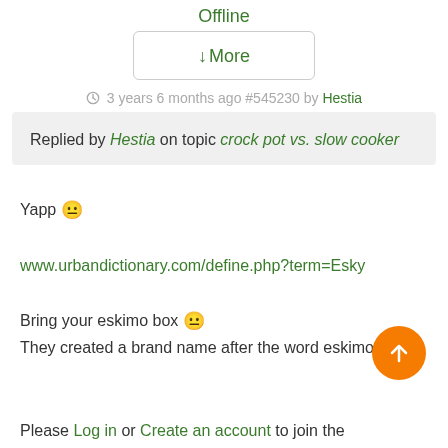Offline
↓More
3 years 6 months ago #545230 by Hestia
Replied by Hestia on topic crock pot vs. slow cooker
Yapp 😐
www.urbandictionary.com/define.php?term=Esky
Bring your eskimo box 😐
They created a brand name after the word eskimo
Please Log in or Create an account to join the